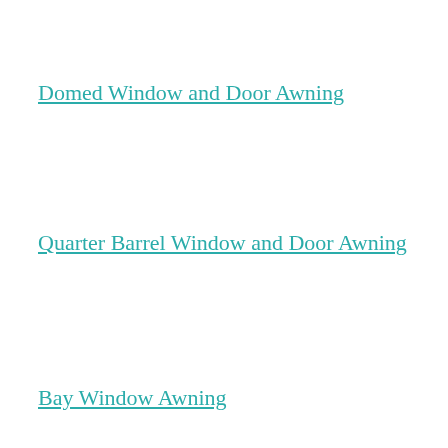Domed Window and Door Awning
Quarter Barrel Window and Door Awning
Bay Window Awning
Spear / Rod Window and Door Awning
Concave (Mediterranean Style) Spear Window and Door Awning
Retractable Rope Pull up Window Awning